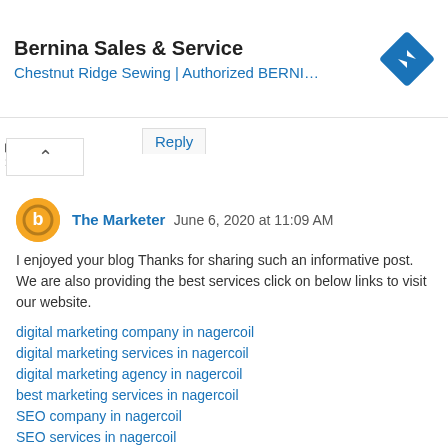[Figure (other): Advertisement banner for Bernina Sales & Service - Chestnut Ridge Sewing | Authorized BERNI... with a blue diamond navigation icon]
Reply
The Marketer  June 6, 2020 at 11:09 AM
I enjoyed your blog Thanks for sharing such an informative post. We are also providing the best services click on below links to visit our website.
digital marketing company in nagercoil
digital marketing services in nagercoil
digital marketing agency in nagercoil
best marketing services in nagercoil
SEO company in nagercoil
SEO services in nagercoil
social media marketing in nagercoil
social media company in nagercoil
PPC services in nagercoil
digital marketing company in valashanji